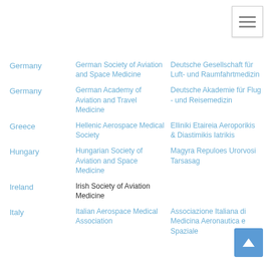| Country | English Name | Native Name |
| --- | --- | --- |
| Germany | German Society of Aviation and Space Medicine | Deutsche Gesellschaft für Luft- und Raumfahrtmedizin |
| Germany | German Academy of Aviation and Travel Medicine | Deutsche Akademie für Flug - und Reisemedizin |
| Greece | Hellenic Aerospace Medical Society | Elliniki Etaireia Aeroporikis & Diastimikis Iatrikis |
| Hungary | Hungarian Society of Aviation and Space Medicine | Magyra Repuloes Urorvosi Tarsasag |
| Ireland | Irish Society of Aviation Medicine |  |
| Italy | Italian Aerospace Medical Association | Associazione Italiana di Medicina Aeronautica e Spaziale |